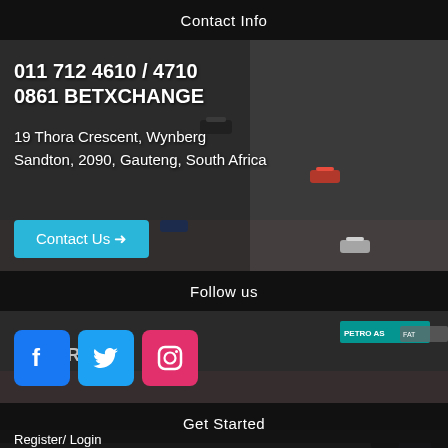Contact Info
[Figure (photo): F1 racing cars on track, top background scene]
011 712 4610 / 4710
0861 BETXCHANGE

19 Thora Crescent, Wynberg
Sandton, 2090, Gauteng, South Africa
Contact Us →
Follow us
[Figure (photo): F1 racing cars on track, bottom background scene with Red Bull and Mercedes cars]
[Figure (illustration): Social media icons: Facebook (blue), Twitter (blue), Instagram (pink/red)]
Get Started
Register/ Login